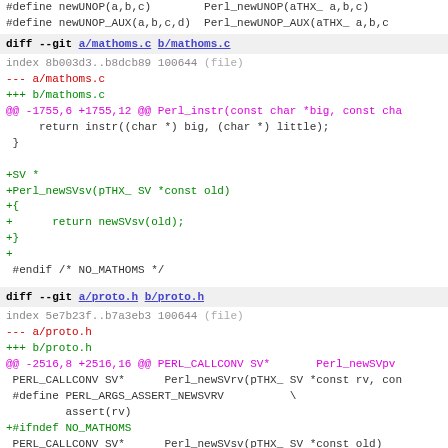#define newUNOP(a,b,c)   Perl_newUNOP(aTHX_ a,b,c)
#define newUNOP_AUX(a,b,c,d)   Perl_newUNOP_AUX(aTHX_ a,b,c
diff --git a/mathoms.c b/mathoms.c
index 8b003d3..b8dcb89 100644 (file)
--- a/mathoms.c
+++ b/mathoms.c
@@ -1755,6 +1755,12 @@ Perl_instr(const char *big, const cha
     return instr((char *) big, (char *) little);
 }

+SV *
+Perl_newSVsv(pTHX_ SV *const old)
+{
+      return newSVsv(old);
+}
+
 #endif /* NO_MATHOMS */

 /*
diff --git a/proto.h b/proto.h
index 5e7b23f..b7a3eb3 100644 (file)
--- a/proto.h
+++ b/proto.h
@@ -2516,8 +2516,16 @@ PERL_CALLCONV SV*   Perl_newSVpv
 PERL_CALLCONV SV*      Perl_newSVrv(pTHX_ SV *const rv, con
 #define PERL_ARGS_ASSERT_NEWSVRV         \
         assert(rv)
+#ifndef NO_MATHOMS
 PERL_CALLCONV SV*      Perl_newSVsv(pTHX_ SV *const old)
         attribute_warn_unused_result